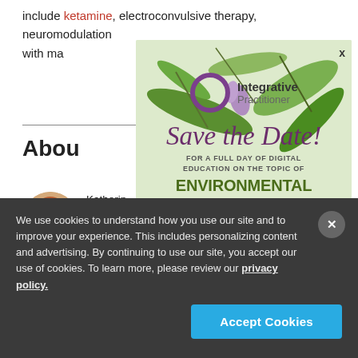include ketamine, electroconvulsive therapy, neuromodulation with ma...
[Figure (illustration): Integrative Practitioner advertisement overlay with herb/plant background photo, circular logo, 'Save the Date!' text in purple italic script, 'FOR A FULL DAY OF DIGITAL EDUCATION ON THE TOPIC OF' subtext, and 'ENVIRONMENTAL MEDICINE' in large green bold text. Close button (x) in top right.]
Abou...ury
[Figure (photo): Circular portrait photo of Katherine, a young woman with red/auburn hair, smiling.]
Katherin...ner. She brin...g
We use cookies to understand how you use our site and to improve your experience. This includes personalizing content and advertising. By continuing to use our site, you accept our use of cookies. To learn more, please review our privacy policy.